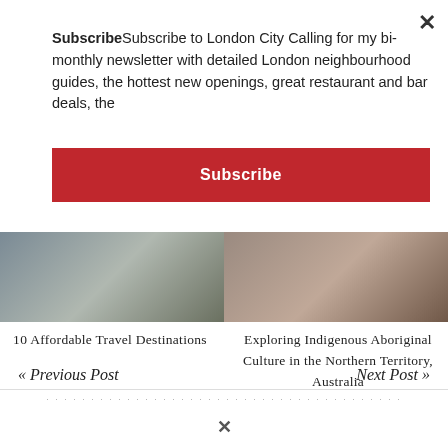SubscribeSubscribe to London City Calling for my bi-monthly newsletter with detailed London neighbourhood guides, the hottest new openings, great restaurant and bar deals, the
Subscribe
[Figure (photo): Two side-by-side article thumbnail images: left shows an outdoor scenic travel photo, right shows a red/earth-toned cultural photo]
10 Affordable Travel Destinations
Exploring Indigenous Aboriginal Culture in the Northern Territory, Australia
« Previous Post
Next Post »